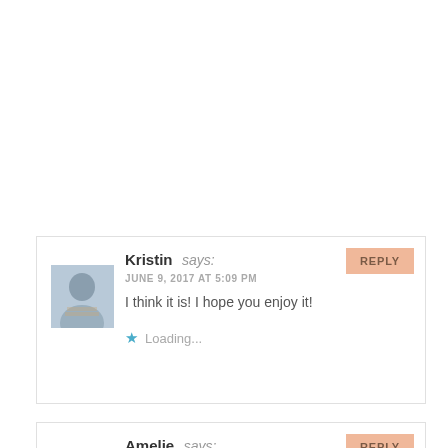Kristin says: JUNE 9, 2017 AT 5:09 PM
I think it is! I hope you enjoy it!
Loading...
Amelie says: JUNE 9, 2017 AT 11:11 PM